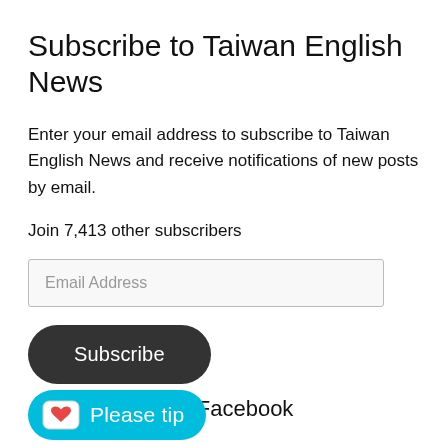Subscribe to Taiwan English News
Enter your email address to subscribe to Taiwan English News and receive notifications of new posts by email.
Join 7,413 other subscribers
Email Address
Subscribe
nglish News on Facebook
Please tip